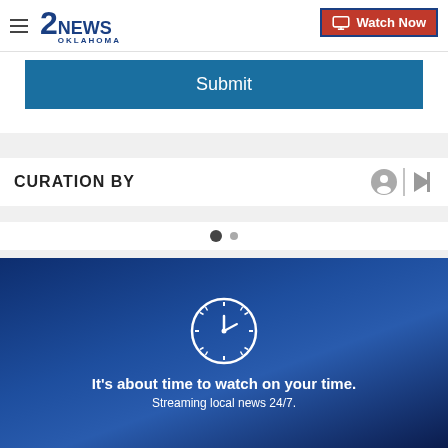2NEWS OKLAHOMA | Watch Now
Submit
CURATION BY
[Figure (other): Pagination dots: one filled dark dot and one smaller gray dot]
[Figure (illustration): Dark blue banner with clock icon and text: It's about time to watch on your time. Streaming local news 24/7.]